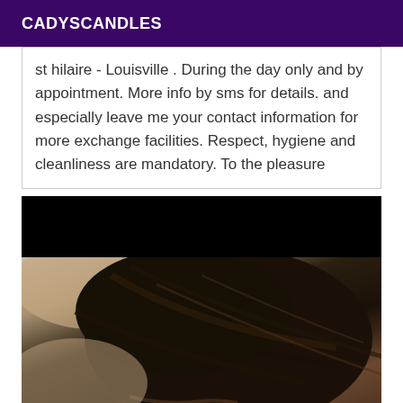CADYSCANDLES
st hilaire - Louisville . During the day only and by appointment. More info by sms for details. and especially leave me your contact information for more exchange facilities. Respect, hygiene and cleanliness are mandatory. To the pleasure
[Figure (photo): Photo showing a person with dark hair, partially obscured by a black bar at the top]